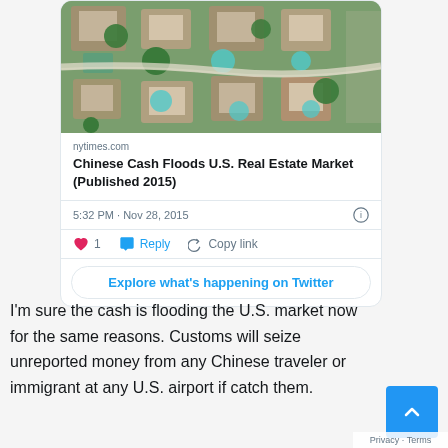[Figure (photo): Aerial view of suburban houses with pools and green trees]
nytimes.com
Chinese Cash Floods U.S. Real Estate Market (Published 2015)
5:32 PM · Nov 28, 2015
1  Reply  Copy link
Explore what's happening on Twitter
I'm sure the cash is flooding the U.S. market now for the same reasons. Customs will seize unreported money from any Chinese traveler or immigrant at any U.S. airport if catch them.